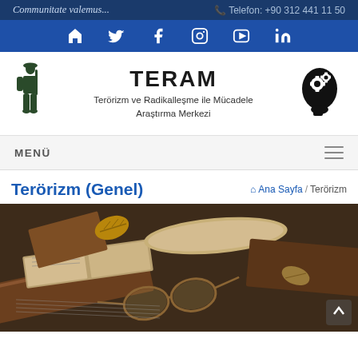Communitate valemus... Telefon: +90 312 441 11 50
[Figure (screenshot): Navigation bar with social media icons: home, twitter, facebook, instagram, youtube, linkedin on dark blue background]
[Figure (logo): TERAM logo with soldier silhouette on left, brain with gears on right, text: TERAM Terörizm ve Radikalleşme ile Mücadele Araştırma Merkezi]
MENÜ
Terörizm (Genel)
Ana Sayfa / Terörizm
[Figure (photo): Old books and manuscripts stacked together with reading glasses resting on open pages, autumn leaf visible, antique brown tones]